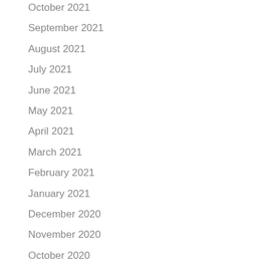October 2021
September 2021
August 2021
July 2021
June 2021
May 2021
April 2021
March 2021
February 2021
January 2021
December 2020
November 2020
October 2020
September 2020
August 2020